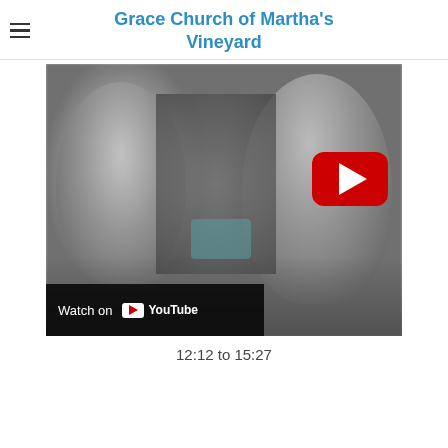Grace Church of Martha's Vineyard
[Figure (screenshot): A YouTube video thumbnail showing a grayscale/blurry black-and-white image of two people. A large red YouTube play button is visible in the upper right of the video. In the lower left corner, a 'Watch on YouTube' bar is displayed.]
12:12 to 15:27